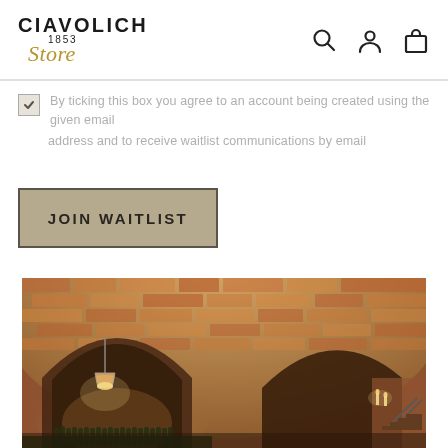CIAVOLICH 1853 Store
By ticking this box you agree to an account being created using the given email address and to receive waitlist communications by email
JOIN WAITLIST
[Figure (photo): Interior of a wine cellar with brick vaulted arched ceilings, warm lighting, and rows of wine bottles stored on the floor. The cellar features stone and brick construction with multiple arched passages.]